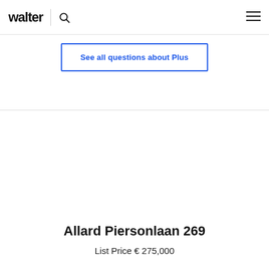walter
See all questions about Plus
Allard Piersonlaan 269
List Price € 275,000